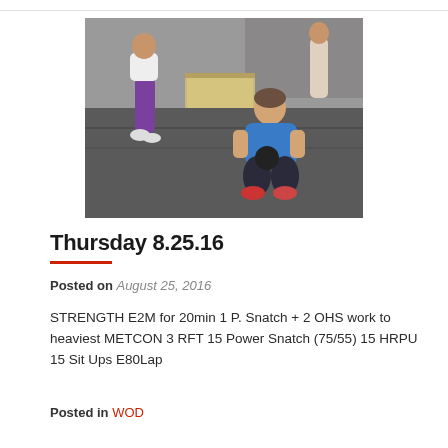[Figure (photo): A man in a blue shirt performing a squat exercise in a gym, gripping a weight. A woman in purple leggings is visible in the background near a wooden box.]
Thursday 8.25.16
Posted on August 25, 2016
STRENGTH E2M for 20min 1 P. Snatch + 2 OHS work to heaviest METCON 3 RFT 15 Power Snatch (75/55) 15 HRPU 15 Sit Ups E80Lap
Posted in WOD